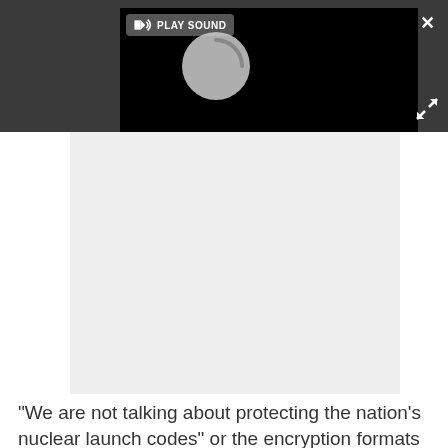[Figure (screenshot): A dark grey UI bar at the top containing a video player with black background showing a loading spinner and a 'PLAY SOUND' button with speaker icon. An X close button and expand arrows icon are visible on the right side.]
[Figure (screenshot): A light grey content area below the video player, appearing as an embedded content region.]
"We are not talking about protecting the nation's nuclear launch codes" or the encryption formats used